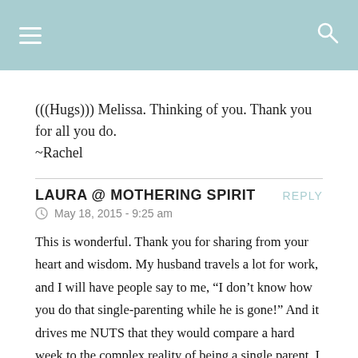(((Hugs))) Melissa. Thinking of you. Thank you for all you do.
~Rachel
LAURA @ MOTHERING SPIRIT
May 18, 2015 - 9:25 am
This is wonderful. Thank you for sharing from your heart and wisdom. My husband travels a lot for work, and I will have people say to me, “I don’t know how you do that single-parenting while he is gone!” And it drives me NUTS that they would compare a hard week to the complex reality of being a single parent. I cannot ever make that analogy. Flying solo for a week or two every month is tough, but it is apples and oranges. And I think we each have to name our own hard and honor each other’s if we’re actually going to be able to support each other in the way we want to, which is one that’s worth doing here. The…